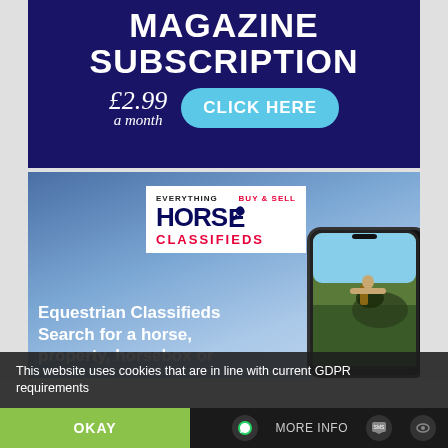[Figure (infographic): Magazine subscription advertisement banner. Dark navy background with large white bold text 'MAGAZINE SUBSCRIPTION', italic white script showing price '£2.99 a month', and a light blue pill-shaped button reading 'CLICK HERE'.]
[Figure (infographic): Horse Classifieds advertisement. Blue sky background with white logo box showing 'EVERYTHING BUY & SELL HORSE CLASSIFIEDS' branding. Text reads 'Equestrian Classifieds Search for a horse, property, horsebox or'. Phone mockup showing horse rider image on right side.]
This website uses cookies that are in line with current GDPR requirements
OKAY
MORE INFO